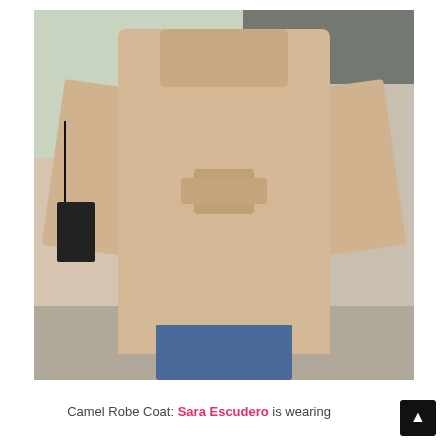[Figure (photo): A woman photographed from behind wearing a camel-colored robe coat with a belt tie, carrying a small black crossbody bag, wearing blue jeans visible at the hem, walking outdoors near a stone wall and iron fence.]
Camel Robe Coat: Sara Escudero is wearing